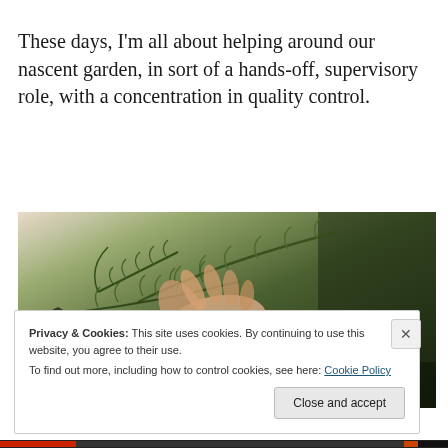These days, I'm all about helping around our nascent garden, in sort of a hands-off, supervisory role, with a concentration in quality control.
[Figure (photo): A hand holding green fern/plant fronds against a dark background with garden tools visible.]
Privacy & Cookies: This site uses cookies. By continuing to use this website, you agree to their use.
To find out more, including how to control cookies, see here: Cookie Policy